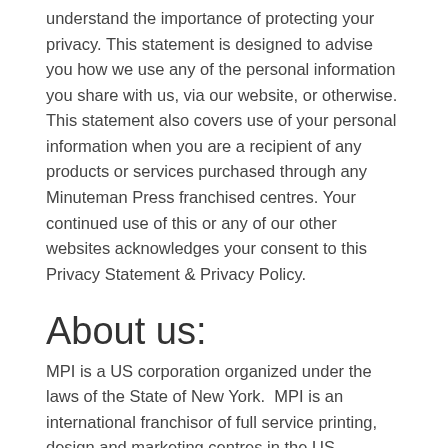understand the importance of protecting your privacy. This statement is designed to advise you how we use any of the personal information you share with us, via our website, or otherwise. This statement also covers use of your personal information when you are a recipient of any products or services purchased through any Minuteman Press franchised centres. Your continued use of this or any of our other websites acknowledges your consent to this Privacy Statement & Privacy Policy.
About us:
MPI is a US corporation organized under the laws of the State of New York.  MPI is an international franchisor of full service printing, design and marketing centres in the US, Australia, Canada, South Africa and the UK. Minuteman Press franchised centres are independently owned and operated under licence from MPI. Minuteman Press franchisees offer services to its customers through this